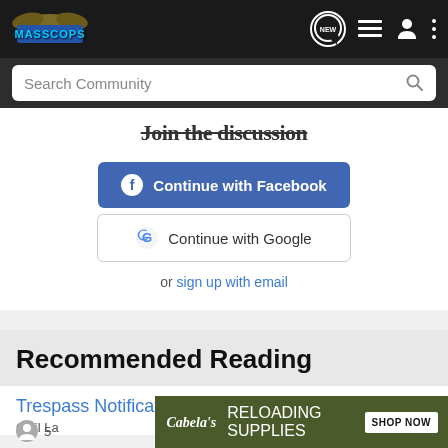MASSCOPS — navigation bar with NEW, list, profile, and more icons
Search Community
Join the discussion
Continue with Facebook
Continue with Google
or sign up with email
Recommended Reading
Trespass Notification
Civil La...
[Figure (other): Cabela's advertisement banner: 'RELOADING SUPPLIES — SHOP NOW']